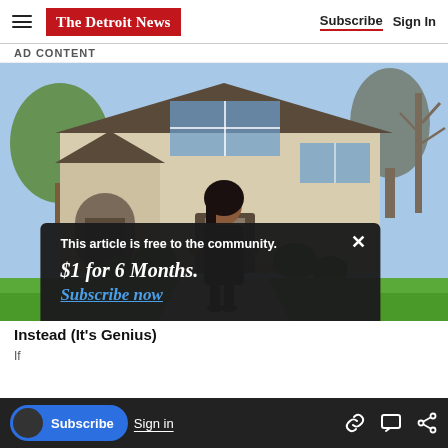The Detroit News — Subscribe | Sign In
AD CONTENT
[Figure (photo): Woman in dark dress standing in front of a large two-story house with trees and green landscaping]
This article is free to the community.
$1 for 6 Months.
Subscribe now
Instead (It's Genius)
If
Subscribe | Sign in | [link icon] [chat icon] [share icon]